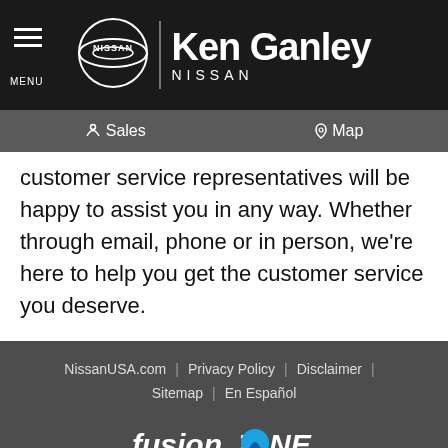[Figure (logo): Ken Ganley Nissan dealership header logo with hamburger menu icon, Nissan circle logo, vertical divider, and Ken Ganley Nissan text in white on black background]
Sales   Map
customer service representatives will be happy to assist you in any way. Whether through email, phone or in person, we're here to help you get the customer service you deserve.
NissanUSA.com | Privacy Policy | Disclaimer | Sitemap | En Español
fusionZONE AUTOMOTIVE
© 2022 fusionZONE Automotive, LLC. Responsive Automotive Dealer Websites by fusionZONE Automotive